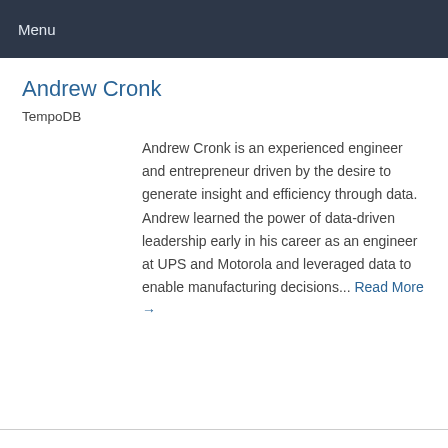Menu
Andrew Cronk
TempoDB
Andrew Cronk is an experienced engineer and entrepreneur driven by the desire to generate insight and efficiency through data. Andrew learned the power of data-driven leadership early in his career as an engineer at UPS and Motorola and leveraged data to enable manufacturing decisions... Read More →